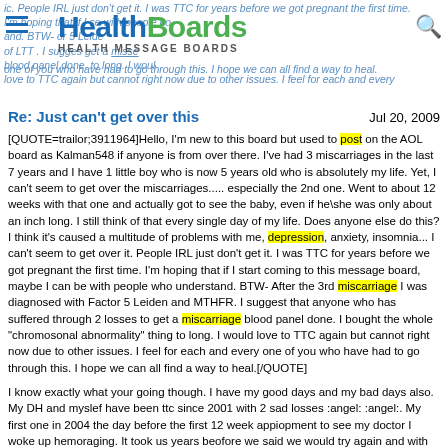HealthBoards - Health Message Boards
Re: Just can't get over this — Jul 20, 2009
[QUOTE=trailor;3911964]Hello, I'm new to this board but used to post on the AOL board as Kalman548 if anyone is from over there. I've had 3 miscarriages in the last 7 years and I have 1 little boy who is now 5 years old who is absolutely my life. Yet, I can't seem to get over the miscarriages..... especially the 2nd one. Went to about 12 weeks with that one and actually got to see the baby, even if he\she was only about an inch long. I still think of that every single day of my life. Does anyone else do this? I think it's caused a multitude of problems with me, depression, anxiety, insomnia... I can't seem to get over it. People IRL just don't get it. I was TTC for years before we got pregnant the first time. I'm hoping that if I start coming to this message board, maybe I can be with people who understand. BTW- After the 3rd miscarriage I was diagnosed with Factor 5 Leiden and MTHFR. I suggest that anyone who has suffered through 2 losses to get a miscarriage blood panel done. I bought the whole "chromosonal abnormality" thing to long. I would love to TTC again but cannot right now due to other issues. I feel for each and every one of you who have had to go through this. I hope we can all find a way to heal.[/QUOTE]
I know exactly what your going though. I have my good days and my bad days also. My DH and myslef have been ttc since 2001 with 2 sad losses :angel: :angel:. My first one in 2004 the day before the first 12 week appiopment to see my doctor I woke up hemoraging. It took us years beofore we said we would try again and with the help of our fertility clinic at the start of the year I feel pregant. I had scans done at 8 10 and was told everything looked good and then it all started going wrong at 12 13 adn 14 week scans where our baby was diagonised with limb body wall complex where all this